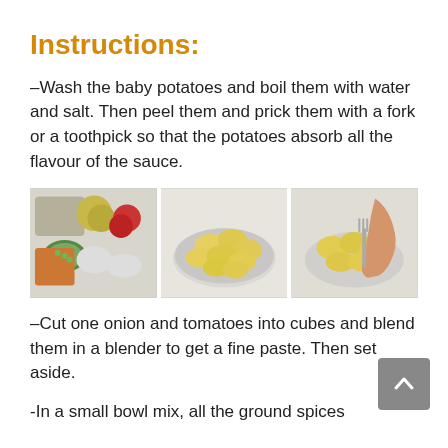Instructions:
–Wash the baby potatoes and boil them with water and salt. Then peel them and prick them with a fork or a toothpick so that the potatoes absorb all the flavour of the sauce.
[Figure (photo): Three food preparation photos side by side: ingredients layout, peeled baby potatoes in a bowl, and a hand pricking potatoes with a fork]
–Cut one onion and tomatoes into cubes and blend them in a blender to get a fine paste. Then set aside.
-In a small bowl mix, all the ground spices